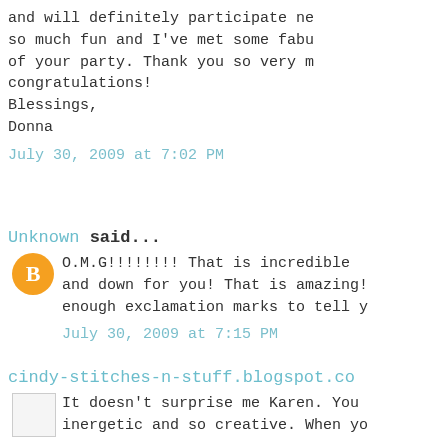and will definitely participate ne so much fun and I've met some fabu of your party. Thank you so very m congratulations!
Blessings,
Donna
July 30, 2009 at 7:02 PM
Unknown said...
O.M.G!!!!!!!! That is incredible and down for you! That is amazing! enough exclamation marks to tell y
July 30, 2009 at 7:15 PM
cindy-stitches-n-stuff.blogspot.co
It doesn't surprise me Karen. You inergetic and so creative. When yo